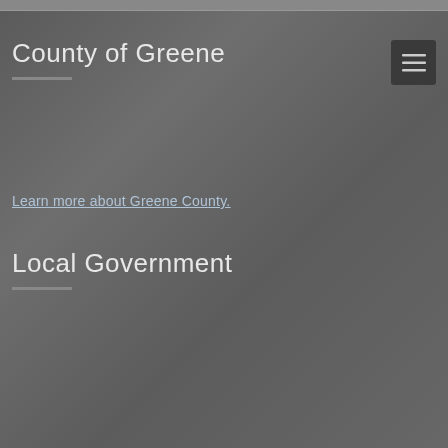County of Greene
Learn more about Greene County.
Local Government